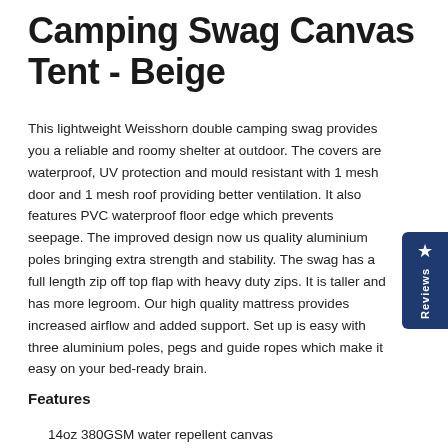Camping Swag Canvas Tent - Beige
This lightweight Weisshorn double camping swag provides you a reliable and roomy shelter at outdoor. The covers are waterproof, UV protection and mould resistant with 1 mesh door and 1 mesh roof providing better ventilation. It also features PVC waterproof floor edge which prevents seepage. The improved design now us quality aluminium poles bringing extra strength and stability. The swag has a full length zip off top flap with heavy duty zips. It is taller and has more legroom. Our high quality mattress provides increased airflow and added support. Set up is easy with three aluminium poles, pegs and guide ropes which make it easy on your bed-ready brain.
Features
14oz 380GSM water repellent canvas